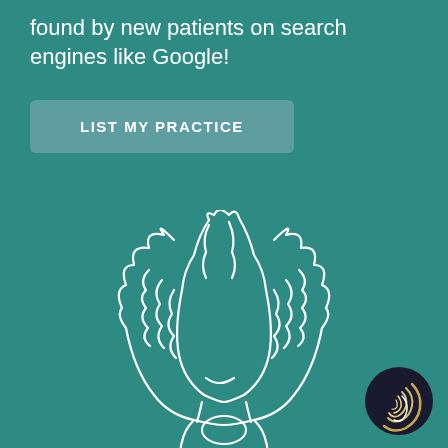found by new patients on search engines like Google!
LIST MY PRACTICE
[Figure (illustration): White line-art illustration of a woman with curly hair smiling, with a smaller figure (child) in front, on teal background]
[Figure (logo): Circular dark logo with a crescent moon and spiral design in gold/yellow]